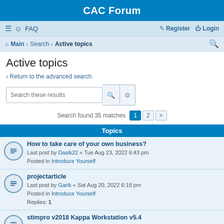CAC Forum
≡  FAQ    Register  Login
Main › Search › Active topics
Active topics
< Return to the advanced search
Search these results
Search found 35 matches  1  2  >
Topics
How to take care of your own business?
Last post by Dasik22 « Tue Aug 23, 2022 6:43 pm
Posted in Introduce Yourself
projectarticle
Last post by Garik « Sat Aug 20, 2022 6:18 pm
Posted in Introduce Yourself
Replies: 1
stimpro v2018 Kappa Workstation v5.4
Last post by papers19 « Sat Aug 20, 2022 10:16 am
Posted in General
Synopsys SaberRD 2019.06 x64